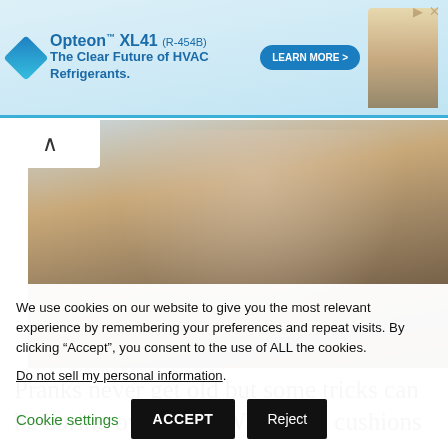[Figure (screenshot): Advertisement banner for Opteon XL41 (R-454B) HVAC refrigerant with blue gradient background, logo, tagline 'The Clear Future of HVAC Refrigerants.', Learn More button, and worker/equipment illustration]
[Figure (photo): Cropped photo of a person sitting on a bench with a skateboard and red bag]
Pranks never get old but some tricks can be boring over time. Whooping cushions might be hilarious f…
We use cookies on our website to give you the most relevant experience by remembering your preferences and repeat visits. By clicking “Accept”, you consent to the use of ALL the cookies.
Do not sell my personal information.
Cookie settings  ACCEPT  Reject